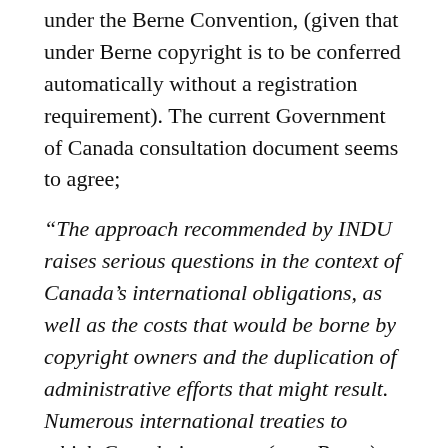under the Berne Convention, (given that under Berne copyright is to be conferred automatically without a registration requirement). The current Government of Canada consultation document seems to agree;
“The approach recommended by INDU raises serious questions in the context of Canada’s international obligations, as well as the costs that would be borne by copyright owners and the duplication of administrative efforts that might result. Numerous international treaties to which Canada is a party (e.g., Berne) prohibit the imposition of any ‘formalities’ that would need to be satisfied for foreign works to benefit from copyright protection in Canada. While limitations on enforcement of copyright linked to registration